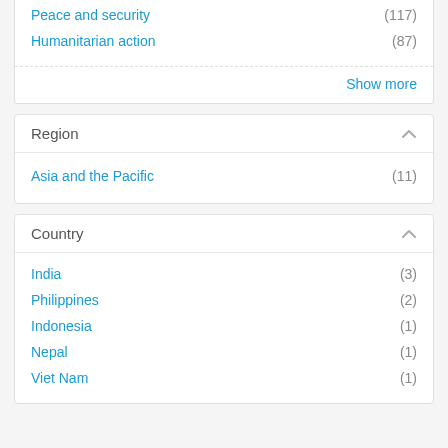Peace and security (117)
Humanitarian action (87)
Show more
Region
Asia and the Pacific (11)
Country
India (3)
Philippines (2)
Indonesia (1)
Nepal (1)
Viet Nam (1)